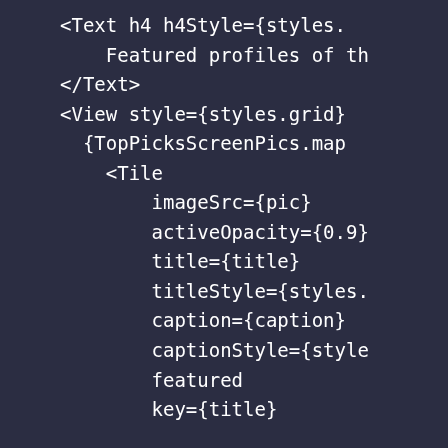[Figure (screenshot): Code editor screenshot showing JSX/React Native code snippet with a dark background (#2b2d42). The code shows a Text component with h4Style, a View component with styles.grid, TopPicksScreenPics.map call, and a Tile component with props: imageSrc, activeOpacity, title, titleStyle, caption, captionStyle, featured, and key.]